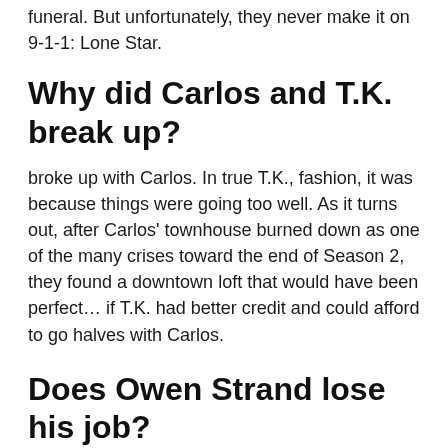funeral. But unfortunately, they never make it on 9-1-1: Lone Star.
Why did Carlos and T.K. break up?
broke up with Carlos. In true T.K., fashion, it was because things were going too well. As it turns out, after Carlos' townhouse burned down as one of the many crises toward the end of Season 2, they found a downtown loft that would have been perfect… if T.K. had better credit and could afford to go halves with Carlos.
Does Owen Strand lose his job?